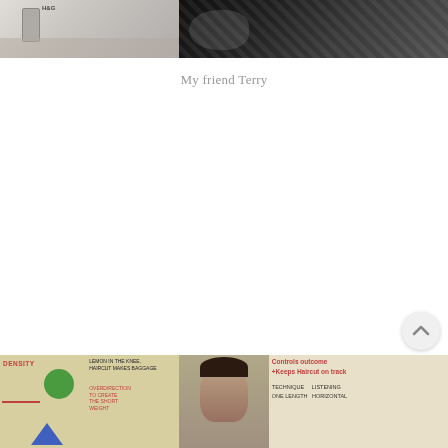[Figure (photo): Partial photo at the top of the page showing two people at what appears to be an indoor setting, cropped so only the lower portion is visible]
My friend Terry
[Figure (photo): Partial photo at the bottom of the page showing a whiteboard with diagrams and text about density, shapes (green circle, blue triangle), and a person standing in front of it. Text on whiteboard includes 'DENSITY', 'CONTROLS OUTCOME', '+Keeps Haircut on track', 'OVERDIRECTION TO CREATE THE SHORT WEIGHT', 'LISTENING', 'ONE LENGTH', 'HORIZONTAL']
[Figure (illustration): Scroll-to-top button (circle with upward chevron) visible in lower right area]